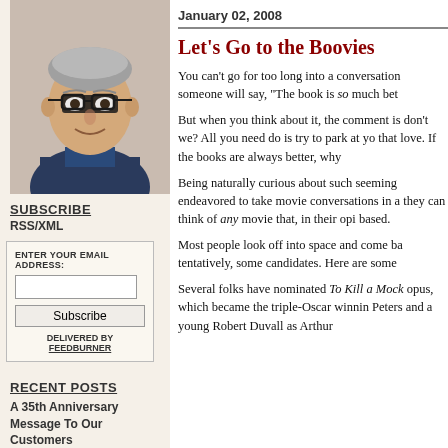[Figure (photo): Headshot of a middle-aged man with glasses wearing a dark blazer, smiling]
SUBSCRIBE
RSS/XML
ENTER YOUR EMAIL ADDRESS: [input] Subscribe DELIVERED BY FEEDBURNER
RECENT POSTS
A 35th Anniversary Message To Our Customers
January 02, 2008
Let's Go to the Boovies
You can't go for too long into a conversation someone will say, "The book is so much bet
But when you think about it, the comment is don't we? All you need do is try to park at yo that love. If the books are always better, why
Being naturally curious about such seeming endeavored to take movie conversations in a they can think of any movie that, in their opi based.
Most people look off into space and come ba tentatively, some candidates. Here are some
Several folks have nominated To Kill a Mock opus, which became the triple-Oscar winnin Peters and a young Robert Duvall as Arthur